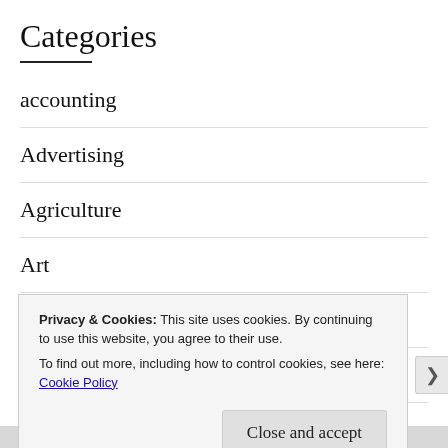Categories
accounting
Advertising
Agriculture
Art
Art/Culture
Automotive
Privacy & Cookies: This site uses cookies. By continuing to use this website, you agree to their use.
To find out more, including how to control cookies, see here: Cookie Policy